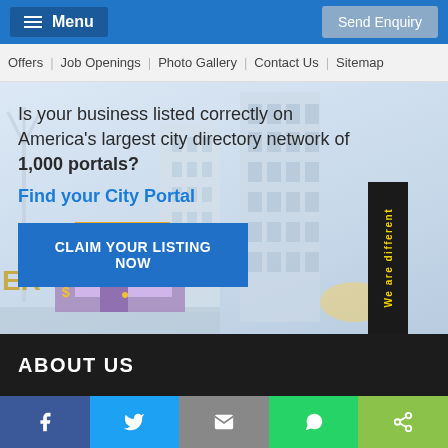Menu | Send Enquiry
Offers | Job Openings | Photo Gallery | Contact Us | Sitemap
[Figure (illustration): Hero banner with city building background and local business shop illustration]
Is your business listed correctly on America's largest city directory network of 1,000 portals?
Find your City Portal
CLAIM YOUR LISTING NOW
We are different
ABOUT US
f | Twitter | Email | WhatsApp | Share